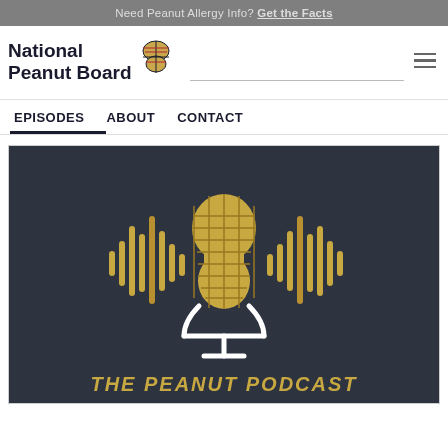Need Peanut Allergy Info? Get the Facts
[Figure (logo): National Peanut Board logo with peanut icon]
EPISODES  ABOUT  CONTACT
[Figure (illustration): The Peanut Podcast logo: dark background with a microphone shaped like a peanut, surrounded by golden audio waveform bars, text reads THE PEANUT PODCAST]